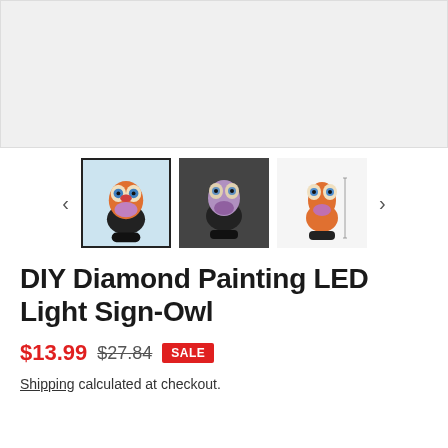[Figure (photo): Main product image area showing DIY Diamond Painting LED Light Sign-Owl, light gray background placeholder]
[Figure (photo): Thumbnail row with three images of the DIY Diamond Painting LED Light Sign-Owl and left/right navigation arrows. First thumbnail selected with bold border.]
DIY Diamond Painting LED Light Sign-Owl
$13.99  $27.84  SALE
Shipping calculated at checkout.